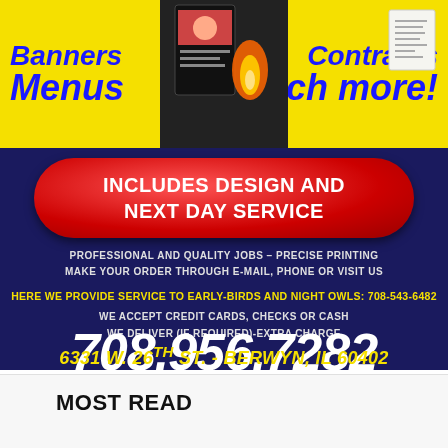[Figure (infographic): Advertisement for Precise Printing showing banners, menus, contracts, much more text in yellow background with blue italic bold text, a red button saying INCLUDES DESIGN AND NEXT DAY SERVICE, contact info, phone number 708.956.7282, address 6331 W. 26TH ST. - BERWYN, IL 60402 on dark navy background]
MOST READ